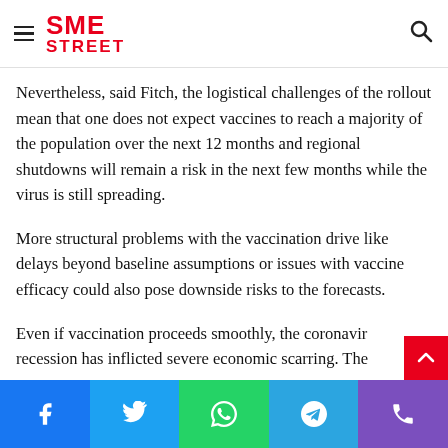SME STREET — Distributions could allow social distancing restrictions at time and will underpin sentiment
Nevertheless, said Fitch, the logistical challenges of the rollout mean that one does not expect vaccines to reach a majority of the population over the next 12 months and regional shutdowns will remain a risk in the next few months while the virus is still spreading.
More structural problems with the vaccination drive like delays beyond baseline assumptions or issues with vaccine efficacy could also pose downside risks to the forecasts.
Even if vaccination proceeds smoothly, the coronavirus recession has inflicted severe economic scarring. The
Social share buttons: Facebook, Twitter, WhatsApp, Telegram, Phone